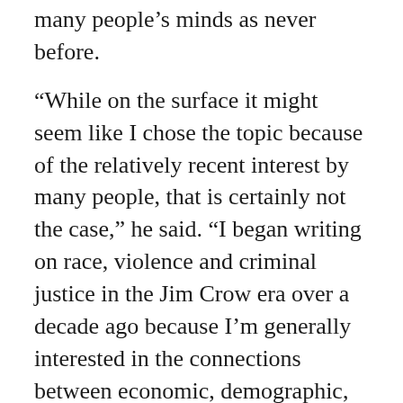many people's minds as never before.
“While on the surface it might seem like I chose the topic because of the relatively recent interest by many people, that is certainly not the case,” he said. “I began writing on race, violence and criminal justice in the Jim Crow era over a decade ago because I’m generally interested in the connections between economic, demographic, and social change to trends in crime and changes in criminal justice in the U. S. South from 1865 to the present.”